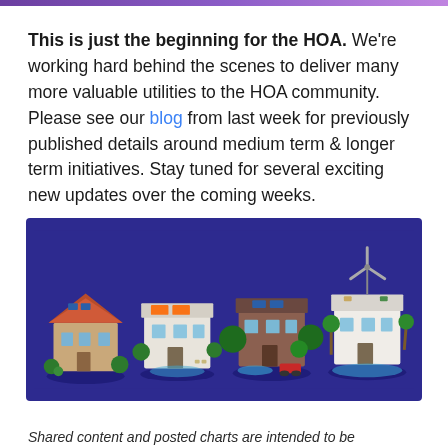[purple gradient bar]
This is just the beginning for the HOA. We're working hard behind the scenes to deliver many more valuable utilities to the HOA community. Please see our blog from last week for previously published details around medium term & longer term initiatives. Stay tuned for several exciting new updates over the coming weeks.
[Figure (illustration): Four isometric 3D house/villa NFT illustrations on a dark blue/purple background, each showing different architectural styles with solar panels, pools, and tropical landscaping.]
Shared content and posted charts are intended to be